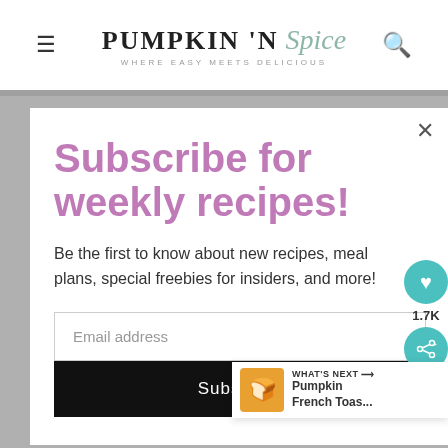PUMPKIN 'N Spice — WHERE EASY MEETS DELICIOUS
Subscribe for weekly recipes!
Be the first to know about new recipes, meal plans, special freebies for insiders, and more!
Email address
Subscribe
1.7K
WHAT'S NEXT → Pumpkin French Toas...
Thanks for the french toast love,